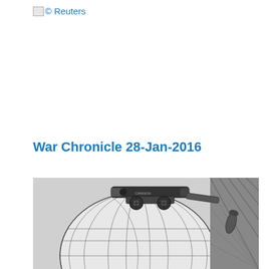© Reuters
War Chronicle 28-Jan-2016
[Figure (illustration): Black and white engraving/illustration showing a cannon or artillery piece mounted on top of a globe showing Europe and Africa, with a bullet/projectile to the right side. The image has a dark, cross-hatched artistic style.]